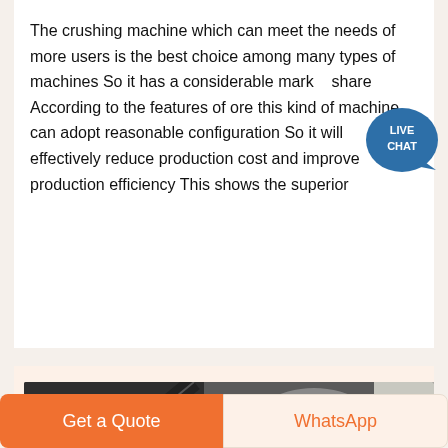The crushing machine which can meet the needs of more users is the best choice among many types of machines So it has a considerable market share According to the features of ore this kind of machine can adopt reasonable configuration So it will effectively reduce production cost and improve production efficiency This shows the superior
[Figure (photo): Close-up photograph of industrial crushing machine components, showing dark metal pipes, cylinders and mechanical parts]
Get a Quote
WhatsApp